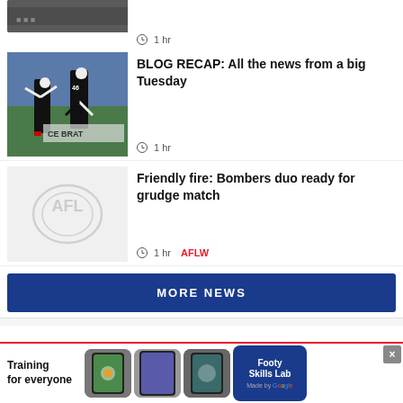[Figure (photo): Partial top strip of AFL players in black and white jerseys]
1 hr
[Figure (photo): AFL players celebrating on field, one wearing number 46 jersey, black and white Collingwood colors]
BLOG RECAP: All the news from a big Tuesday
1 hr
[Figure (logo): AFL logo placeholder on grey background]
Friendly fire: Bombers duo ready for grudge match
1 hr  AFLW
MORE NEWS
[Figure (advertisement): Footy Skills Lab advertisement by Google - Training for everyone]